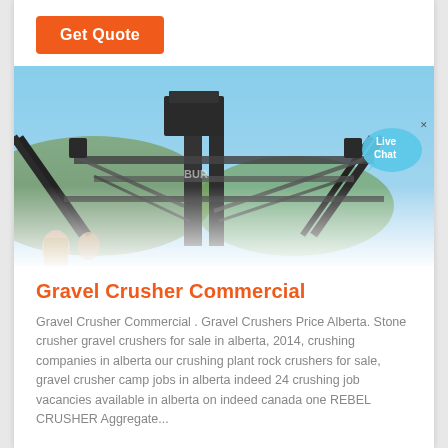Get Quote
[Figure (photo): Industrial gravel crushing plant with conveyor belts and machinery against a blue sky, with workers visible in the foreground]
Gravel Crusher Commercial
Gravel Crusher Commercial . Gravel Crushers Price Alberta. Stone crusher gravel crushers for sale in alberta, 2014, crushing companies in alberta our crushing plant rock crushers for sale, gravel crusher camp jobs in alberta indeed 24 crushing job vacancies available in alberta on indeed canada one REBEL CRUSHER Aggregate...